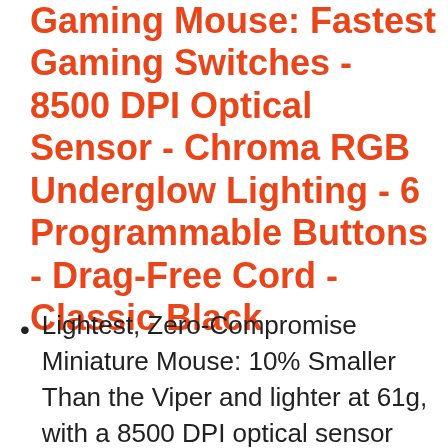Gaming Mouse: Fastest Gaming Switches - 8500 DPI Optical Sensor - Chroma RGB Underglow Lighting - 6 Programmable Buttons - Drag-Free Cord - Classic Black
Lightest, Zero-Compromise Miniature Mouse: 10% Smaller Than the Viper and lighter at 61g, with a 8500 DPI optical sensor befitting the most serious gamers without the need for drilling holes in